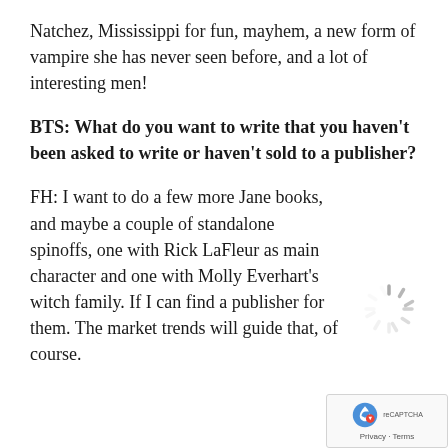Natchez, Mississippi for fun, mayhem, a new form of vampire she has never seen before, and a lot of interesting men!
BTS: What do you want to write that you haven't been asked to write or haven't sold to a publisher?
FH: I want to do a few more Jane books, and maybe a couple of standalone spinoffs, one with Rick LaFleur as main character and one with Molly Everhart's witch family. If I can find a publisher for them. The market trends will guide that, of course.
[Figure (other): Loading spinner icon (circular progress indicator) and reCAPTCHA privacy badge in bottom-right corner]